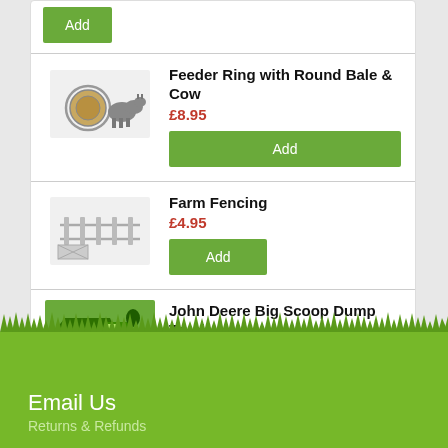Add
Feeder Ring with Round Bale & Cow
£8.95
Add
Farm Fencing
£4.95
Add
John Deere Big Scoop Dump Truck
£18.95
Add
Email Us
Returns & Refunds